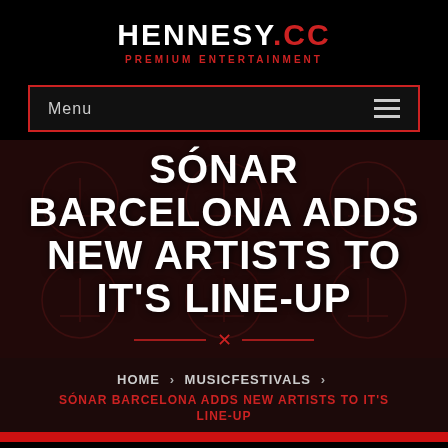HENNESY.CC — PREMIUM ENTERTAINMENT
Menu
SÓNAR BARCELONA ADDS NEW ARTISTS TO IT'S LINE-UP
HOME > MUSICFESTIVALS > SÓNAR BARCELONA ADDS NEW ARTISTS TO IT'S LINE-UP